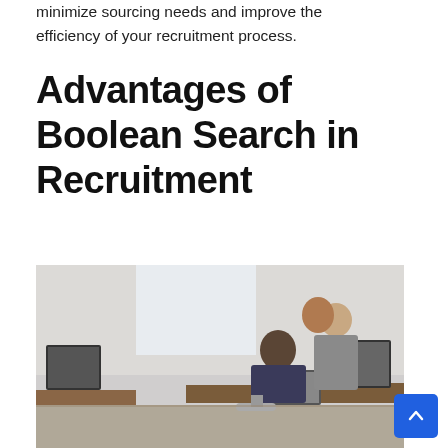minimize sourcing needs and improve the efficiency of your recruitment process.
Advantages of Boolean Search in Recruitment
[Figure (photo): Office scene with several employees working together around desks with laptops and computers in an open-plan workspace.]